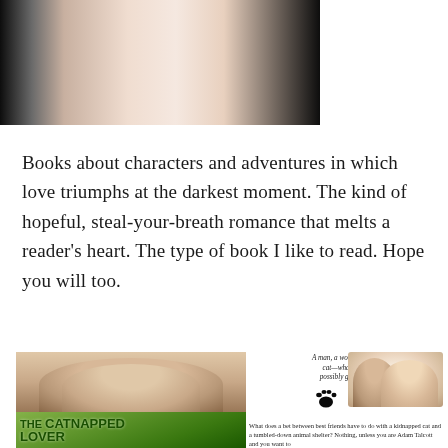[Figure (photo): Partial photo of a person, cropped at top, showing chin/neck area with dark background on sides]
Books about characters and adventures in which love triumphs at the darkest moment. The kind of hopeful, steal-your-breath romance that melts a reader's heart. The type of book I like to read. Hope you will too.
[Figure (photo): Book cover and promotional image for 'The Catnapped Lover' — a romance novel featuring a couple lying together on the left, the book cover with green background and title text, and on the right a romantic couple close together with tagline 'A man, a woman, and a cat—what could possibly go wrong' with a paw print and descriptive text below.]